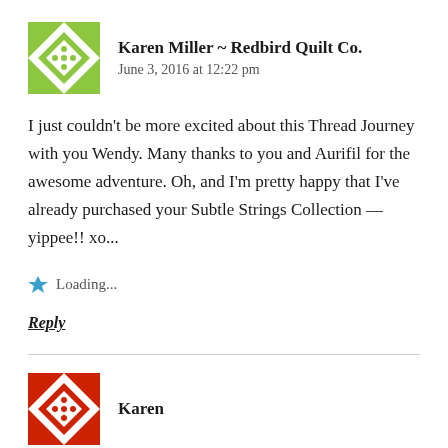[Figure (logo): Green quilt-pattern avatar icon for Karen Miller ~ Redbird Quilt Co.]
Karen Miller ~ Redbird Quilt Co.
June 3, 2016 at 12:22 pm
I just couldn't be more excited about this Thread Journey with you Wendy. Many thanks to you and Aurifil for the awesome adventure. Oh, and I'm pretty happy that I've already purchased your Subtle Strings Collection — yippee!! xo...
Loading...
Reply
[Figure (logo): Red quilt-pattern avatar icon for Karen]